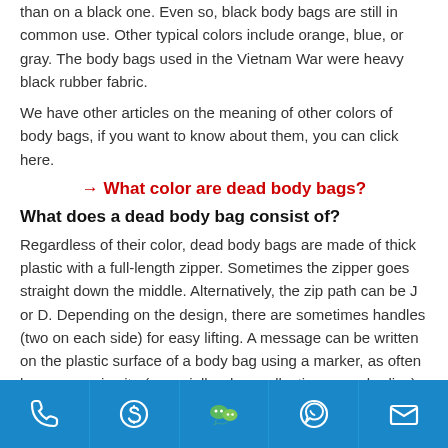than on a black one. Even so, black body bags are still in common use. Other typical colors include orange, blue, or gray. The body bags used in the Vietnam War were heavy black rubber fabric.
We have other articles on the meaning of other colors of body bags, if you want to know about them, you can click here.
→ What color are dead body bags?
What does a dead body bag consist of?
Regardless of their color, dead body bags are made of thick plastic with a full-length zipper. Sometimes the zipper goes straight down the middle. Alternatively, the zip path can be J or D. Depending on the design, there are sometimes handles (two on each side) for easy lifting. A message can be written on the plastic surface of a body bag using a marker, as often happens — in situ (especially when collecting many bodies) or in a morgue, before being stored in a freezer. Alternatively, some body bags are designed to have transparent label bags as an integral part of the design that can be inserted with
[Figure (infographic): Blue footer bar with five contact icons: phone, Skype, WeChat, WhatsApp, and email/envelope]